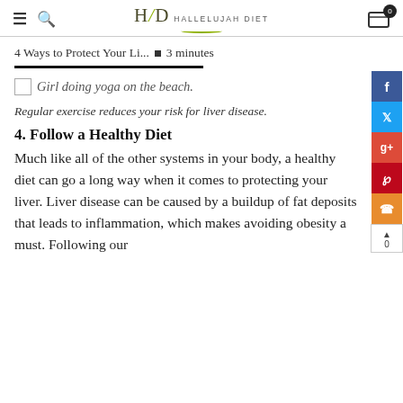H|D HALLELUJAH DIET
4 Ways to Protect Your Li... • 3 minutes
[Figure (photo): Girl doing yoga on the beach.]
Regular exercise reduces your risk for liver disease.
4. Follow a Healthy Diet
Much like all of the other systems in your body, a healthy diet can go a long way when it comes to protecting your liver. Liver disease can be caused by a buildup of fat deposits that leads to inflammation, which makes avoiding obesity a must. Following our